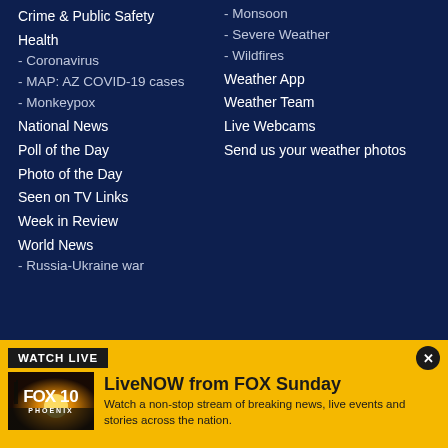Crime & Public Safety
Health
- Coronavirus
- MAP: AZ COVID-19 cases
- Monkeypox
National News
Poll of the Day
Photo of the Day
Seen on TV Links
Week in Review
World News
- Russia-Ukraine war
- Monsoon
- Severe Weather
- Wildfires
Weather App
Weather Team
Live Webcams
Send us your weather photos
WATCH LIVE
LiveNOW from FOX Sunday
Watch a non-stop stream of breaking news, live events and stories across the nation.